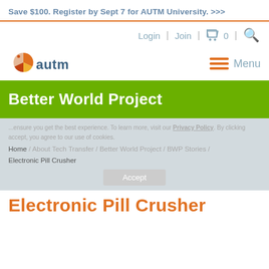Save $100. Register by Sept 7 for AUTM University. >>>
Login  |  Join  |  🛒 0  |  🔍
[Figure (logo): AUTM logo with colorful pie-chart icon and 'autm' text]
≡  Menu
Better World Project
...ensure you get the best experience. To learn more, visit our Privacy Policy. By clicking accept, you agree to our use of cookies.
Home / About Tech Transfer / Better World Project / BWP Stories / Electronic Pill Crusher
Electronic Pill Crusher